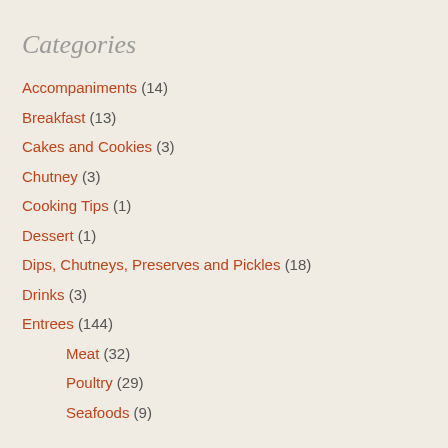Categories
Accompaniments (14)
Breakfast (13)
Cakes and Cookies (3)
Chutney (3)
Cooking Tips (1)
Dessert (1)
Dips, Chutneys, Preserves and Pickles (18)
Drinks (3)
Entrees (144)
Meat (32)
Poultry (29)
Seafoods (9)